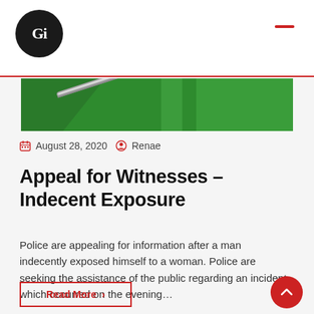Gi
[Figure (photo): Close-up photo of a shiny metal rod or cue on a green surface]
August 28, 2020   Renae
Appeal for Witnesses – Indecent Exposure
Police are appealing for information after a man indecently exposed himself to a woman. Police are seeking the assistance of the public regarding an incident which occurred on the evening…
Read More >